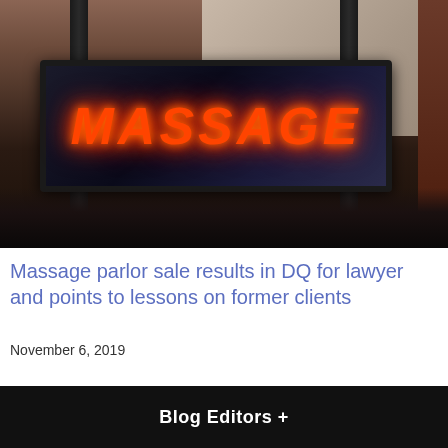[Figure (photo): Photograph of a neon 'MASSAGE' sign in orange/red neon letters on a dark background sign box, mounted on poles against a dark urban building backdrop with brick and sky visible]
Massage parlor sale results in DQ for lawyer and points to lessons on former clients
November 6, 2019
Blog Editors +